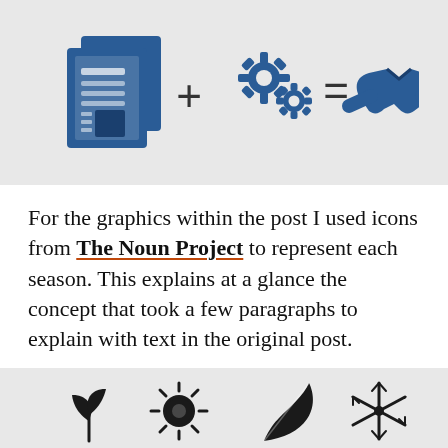[Figure (infographic): Three blue icons: a document/newspaper icon, a gear/settings icon pair, and a handshake icon, connected by plus and equals signs to form an equation.]
For the graphics within the post I used icons from The Noun Project to represent each season. This explains at a glance the concept that took a few paragraphs to explain with text in the original post.
[Figure (infographic): Four season icons at the bottom: a sprout/leaf icon for spring, a sun icon for summer, a falling leaf icon for autumn, and a snowflake icon for winter.]